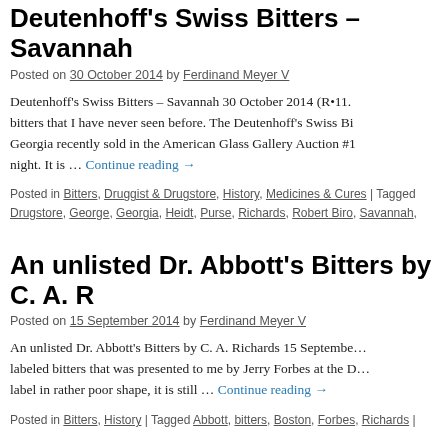Deutenhoff's Swiss Bitters – Savannah
Posted on 30 October 2014 by Ferdinand Meyer V
Deutenhoff's Swiss Bitters – Savannah 30 October 2014 (R•11. bitters that I have never seen before. The Deutenhoff's Swiss Bi… Georgia recently sold in the American Glass Gallery Auction #1 night. It is … Continue reading →
Posted in Bitters, Druggist & Drugstore, History, Medicines & Cures | Tagged Drugstore, George, Georgia, Heidt, Purse, Richards, Robert Biro, Savannah,
An unlisted Dr. Abbott's Bitters by C. A. R
Posted on 15 September 2014 by Ferdinand Meyer V
An unlisted Dr. Abbott's Bitters by C. A. Richards 15 Septembe… labeled bitters that was presented to me by Jerry Forbes at the D… label in rather poor shape, it is still … Continue reading →
Posted in Bitters, History | Tagged Abbott, bitters, Boston, Forbes, Richards |